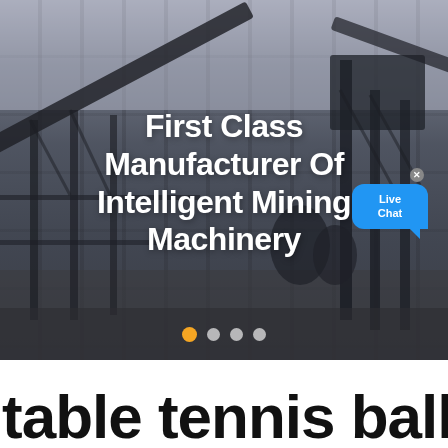[Figure (photo): Industrial mining facility with large steel structural frameworks, conveyor belts, and machinery photographed in an overcast/grey sky setting. Overlaid with white bold text and a Live Chat widget bubble.]
First Class Manufacturer Of Intelligent Mining Machinery
table tennis ball